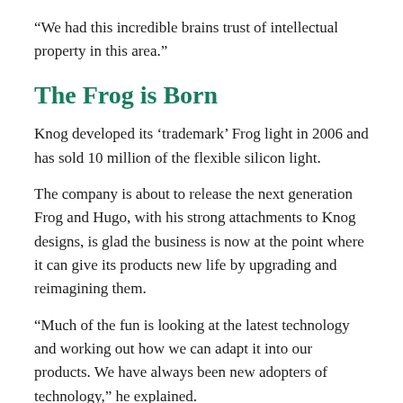“We had this incredible brains trust of intellectual property in this area.”
The Frog is Born
Knog developed its ‘trademark’ Frog light in 2006 and has sold 10 million of the flexible silicon light.
The company is about to release the next generation Frog and Hugo, with his strong attachments to Knog designs, is glad the business is now at the point where it can give its products new life by upgrading and reimagining them.
“Much of the fun is looking at the latest technology and working out how we can adapt it into our products. We have always been new adopters of technology,” he explained.